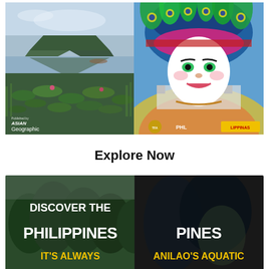[Figure (photo): Two magazine/publication covers side by side. Left: Asian Geographic magazine cover showing a tranquil lake landscape with lily pads and mountain reflection. Right: Culture Trip or similar publication showing a colorful masked festival dancer in elaborate headdress, with TFaPHL and Lippinas logos.]
Explore Now
[Figure (photo): Bottom banner showing two side-by-side images promoting the Philippines. Left side shows forested landscape with bold text 'DISCOVER THE PHILIPPINES IT'S ALWAYS'. Right side shows underwater/aquatic scene with text 'ANILAO'S AQUATIC'.]